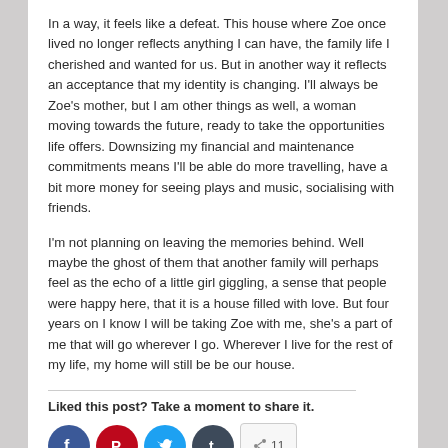In a way, it feels like a defeat. This house where Zoe once lived no longer reflects anything I can have, the family life I cherished and wanted for us. But in another way it reflects an acceptance that my identity is changing. I'll always be Zoe's mother, but I am other things as well, a woman moving towards the future, ready to take the opportunities life offers. Downsizing my financial and maintenance commitments means I'll be able do more travelling, have a bit more money for seeing plays and music, socialising with friends.
I'm not planning on leaving the memories behind. Well maybe the ghost of them that another family will perhaps feel as the echo of a little girl giggling, a sense that people were happy here, that it is a house filled with love. But four years on I know I will be taking Zoe with me, she's a part of me that will go wherever I go. Wherever I live for the rest of my life, my home will still be be our house.
Liked this post? Take a moment to share it.
[Figure (other): Social sharing icons: Facebook (blue), Pinterest (red), Twitter (cyan), LinkedIn (dark), and a share button]